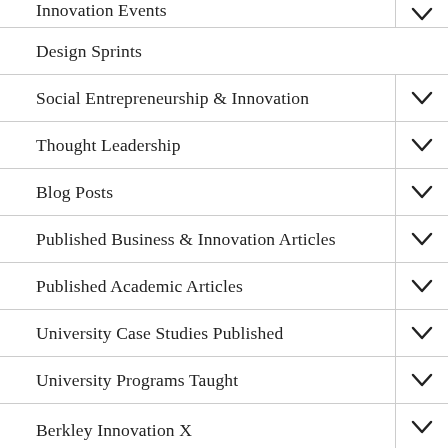Innovation Events
Design Sprints
Social Entrepreneurship & Innovation
Thought Leadership
Blog Posts
Published Business & Innovation Articles
Published Academic Articles
University Case Studies Published
University Programs Taught
Berkley Innovation X